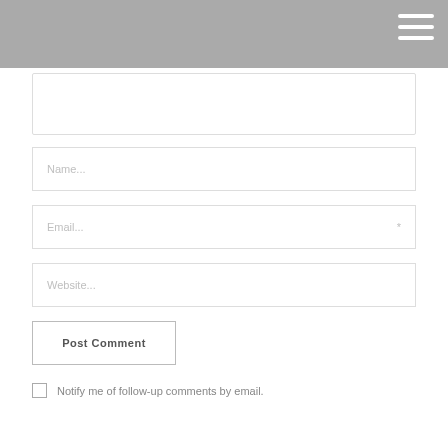[Figure (screenshot): Website header bar with hamburger menu icon (three horizontal white lines) on dark grey background]
Name...
Email... *
Website...
Post Comment
Notify me of follow-up comments by email.